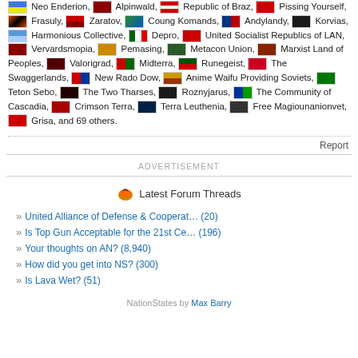Neo Enderion, Alpinwald, Republic of Braz, Pissing Yourself, Frasuly, Zaratov, Coung Komands, Andylandy, Korvias, Harmonious Collective, Depro, United Socialist Republics of LAN, Vervardsmopia, Pemasing, Metacon Union, Marxist Land of Peoples, Valorigrad, Midterra, Runegeist, The Swaggerlands, New Rado Dow, Anime Waifu Providing Soviets, Teton Sebo, The Two Tharses, Roznyjarus, The Community of Cascadia, Crimson Terra, Terra Leuthenia, Free Magiounanionvet, Grisa, and 69 others.
Report
ADVERTISEMENT
Latest Forum Threads
United Alliance of Defense & Cooperat… (20)
Is Top Gun Acceptable for the 21st Ce… (196)
Your thoughts on AN? (8,940)
How did you get into NS? (300)
Is Lava Wet? (51)
NationStates by Max Barry